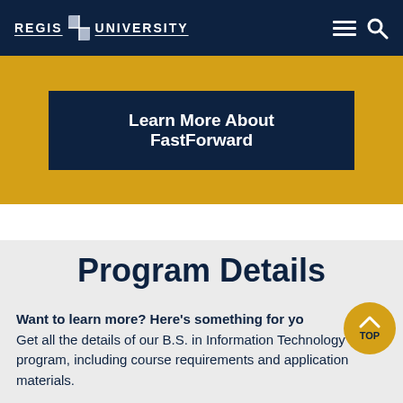REGIS UNIVERSITY
Learn More About FastForward
Program Details
Want to learn more? Here's something for you. Get all the details of our B.S. in Information Technology program, including course requirements and application materials.